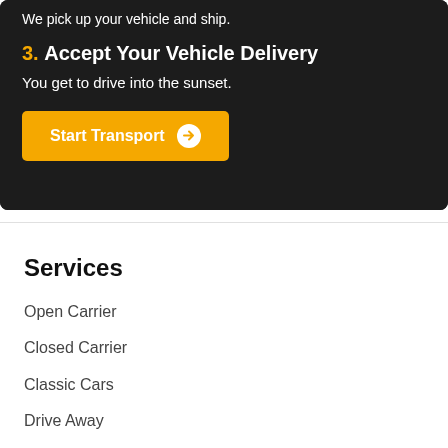We pick up your vehicle and ship.
3. Accept Your Vehicle Delivery
You get to drive into the sunset.
Start Transport →
Services
Open Carrier
Closed Carrier
Classic Cars
Drive Away
Student Vehicles